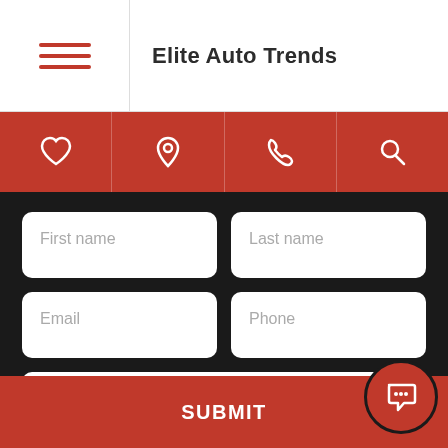Elite Auto Trends
[Figure (infographic): Red navigation icon bar with heart, location pin, phone, and search icons on a red background]
First name
Last name
Email
Phone
Message
SUBMIT